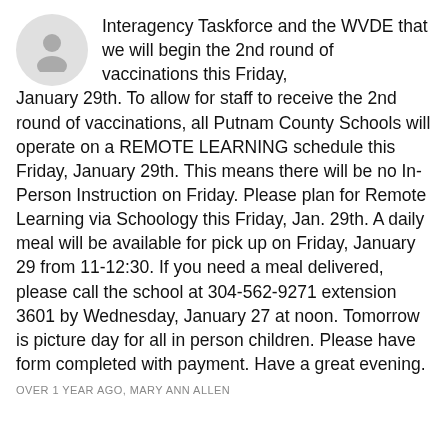[Figure (illustration): Generic user avatar icon (grey circle with person silhouette)]
Interagency Taskforce and the WVDE that we will begin the 2nd round of vaccinations this Friday, January 29th. To allow for staff to receive the 2nd round of vaccinations, all Putnam County Schools will operate on a REMOTE LEARNING schedule this Friday, January 29th. This means there will be no In-Person Instruction on Friday. Please plan for Remote Learning via Schoology this Friday, Jan. 29th. A daily meal will be available for pick up on Friday, January 29 from 11-12:30. If you need a meal delivered, please call the school at 304-562-9271 extension 3601 by Wednesday, January 27 at noon. Tomorrow is picture day for all in person children. Please have form completed with payment. Have a great evening.
OVER 1 YEAR AGO, MARY ANN ALLEN